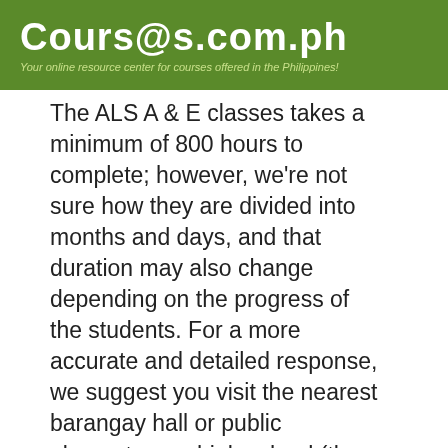Courses.com.ph
Your online resource center for courses offered in the Philippines!
The ALS A & E classes takes a minimum of 800 hours to complete; however, we're not sure how they are divided into months and days, and that duration may also change depending on the progress of the students. For a more accurate and detailed response, we suggest you visit the nearest barangay hall or public elementary or high school (they usually offer ALS classes) so they can provide you with more information.